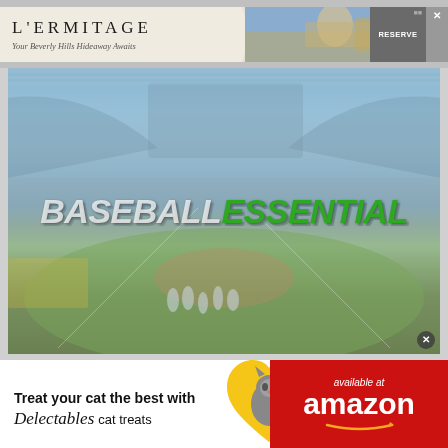[Figure (screenshot): L'Ermitage Beverly Hills hotel advertisement banner with text 'L'ERMITAGE' and tagline 'Your Beverly Hills Hideaway Awaits' with a RESERVE button and hotel photo]
[Figure (screenshot): Baseball Essential website main content area showing a baseball stadium background with the logo 'BASEBALLESSENTIAL' overlaid in white and green italic bold text]
[Figure (screenshot): Delectables cat treats advertisement: 'Treat your cat the best with Delectables cat treats' on white left side, cat image in center heart shape, 'available at amazon' on red right side]